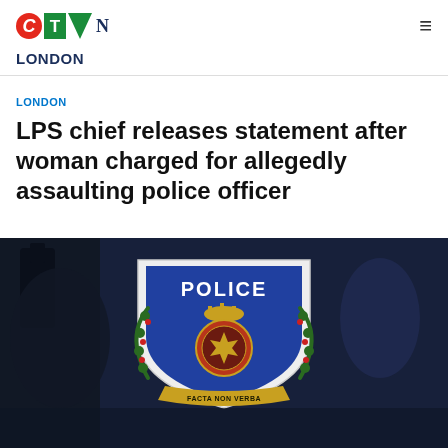CTV News
LONDON
LONDON
LPS chief releases statement after woman charged for allegedly assaulting police officer
[Figure (photo): Close-up photograph of a police officer's uniform shoulder showing a 'POLICE' badge/patch with a royal crest emblem, dark navy uniform fabric visible]